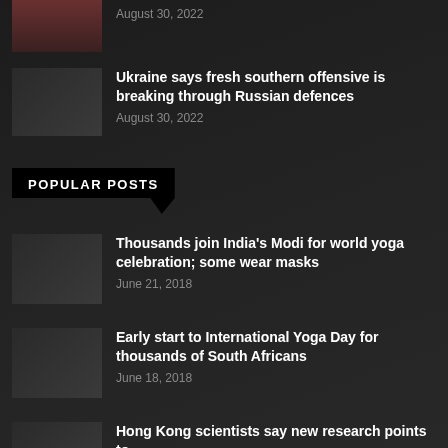August 30, 2022
Ukraine says fresh southern offensive is breaking through Russian defences
August 30, 2022
POPULAR POSTS
Thousands join India's Modi for world yoga celebration; some wear masks
June 21, 2018
Early start to International Yoga Day for thousands of South Africans
June 18, 2018
Hong Kong scientists say new research points to universal antibody drug...